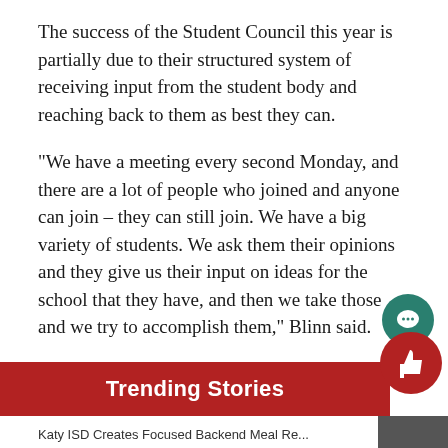The success of the Student Council this year is partially due to their structured system of receiving input from the student body and reaching back to them as best they can.
“We have a meeting every second Monday, and there are a lot of people who joined and anyone can join – they can still join. We have a big variety of students. We ask them their opinions and they give us their input on ideas for the school that they have, and then we take those and we try to accomplish them,” Blinn said.
Trending Stories